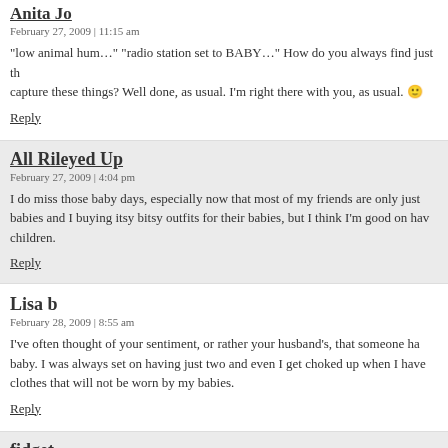Anita Jo
February 27, 2009 | 11:15 am
“low animal hum…” “radio station set to BABY…” How do you always find just the right words to capture these things? Well done, as usual. I’m right there with you, as usual. 😐
Reply
All Rileyed Up
February 27, 2009 | 4:04 pm
I do miss those baby days, especially now that most of my friends are only just having babies and I buying itsy bitsy outfits for their babies, but I think I’m good on having more children.
Reply
Lisa b
February 28, 2009 | 8:55 am
I’ve often thought of your sentiment, or rather your husband’s, that someone has to be the last baby. I was always set on having just two and even I get choked up when I have to give away clothes that will not be worn by my babies.
Reply
fidget
February 28, 2009 | 9:59 am
my radio is set to the same station and I too have such fun pregnancy complications that are still going for it. My doc has not directly said "this should be your last" they just teeter a bit when I say "we're thinking about more"